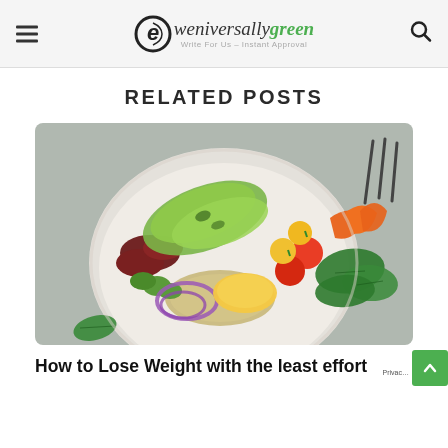eweniversally green — Write For Us – Instant Approval
RELATED POSTS
[Figure (photo): A colorful vegetable bowl photographed from above on a gray surface, containing avocado slices, red kidney beans, sliced cucumbers, purple onion rings, corn kernels, cherry tomatoes, orange bell pepper strips, fresh spinach leaves, and quinoa, with forks in the background.]
How to Lose Weight with the least effort